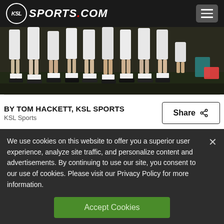KSL SPORTS.COM
[Figure (photo): Close-up photo of soccer players' legs and feet standing on a field, wearing white shorts and socks.]
BY TOM HACKETT, KSL SPORTS
KSL Sports
We use cookies on this website to offer you a superior user experience, analyze site traffic, and personalize content and advertisements. By continuing to use our site, you consent to our use of cookies. Please visit our Privacy Policy for more information.
Accept Cookies